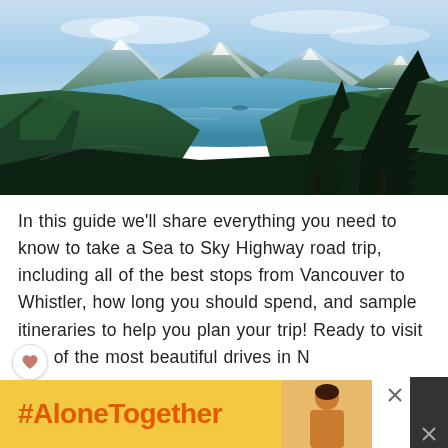[Figure (photo): Aerial landscape photo of a mountain fjord scene — snow-capped peaks in the distance, a wide blue lake or inlet in the middle ground surrounded by dense green coniferous forest, tall pine trees in the foreground right. Bright sunny day with blue sky and light clouds.]
In this guide we'll share everything you need to know to take a Sea to Sky Highway road trip, including all of the best stops from Vancouver to Whistler, how long you should spend, and sample itineraries to help you plan your trip! Ready to visit one of the most beautiful drives in N...
[Figure (other): Advertisement banner with yellow/orange background displaying '#AloneTogether' hashtag in orange bold text, with a photo of a woman in a kitchen on the right side and close/mute buttons.]